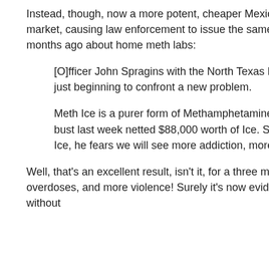Instead, though, now a more potent, cheaper Mexican version of meth is flooding Texas' market, causing law enforcement to issue the same, tired, dire predictions we heard just months ago about home meth labs:
[O]fficer John Spragins with the North Texas Drug Task Force says officers are just beginning to confront a new problem.
Meth Ice is a purer form of Methamphetamine and it is popping up weekly. One bust last week netted $88,000 worth of Ice. Spragins says with more people on Ice, he fears we will see more addiction, more overdoses, and more violence.
Well, that's an excellent result, isn't it, for a three month old law? More addiction, more overdoses, and more violence! Surely it's now evident that trying to stamp out supply without